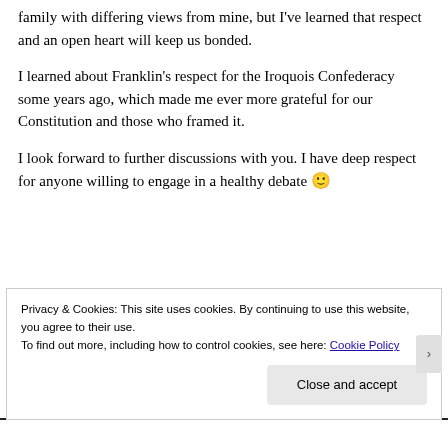family with differing views from mine, but I've learned that respect and an open heart will keep us bonded.
I learned about Franklin's respect for the Iroquois Confederacy some years ago, which made me ever more grateful for our Constitution and those who framed it.
I look forward to further discussions with you. I have deep respect for anyone willing to engage in a healthy debate 🙂
Privacy & Cookies: This site uses cookies. By continuing to use this website, you agree to their use.
To find out more, including how to control cookies, see here: Cookie Policy
Close and accept